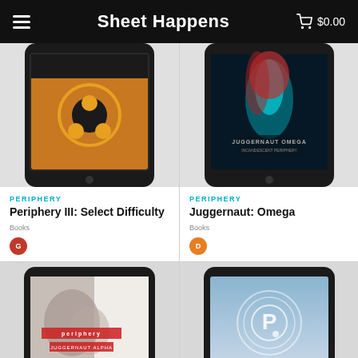Sheet Happens  $0.00
[Figure (illustration): Tablet device showing Periphery III album art with orange/black geometric design]
PERIPHERY
Periphery III: Select Difficulty
Books
[Figure (illustration): Tablet device showing Juggernaut: Omega album art with red hair and light figure]
PERIPHERY
Juggernaut: Omega
Books
[Figure (illustration): Tablet device showing Juggernaut: Alpha album art with distorted face imagery]
[Figure (illustration): Tablet device showing Periphery logo on sky background]